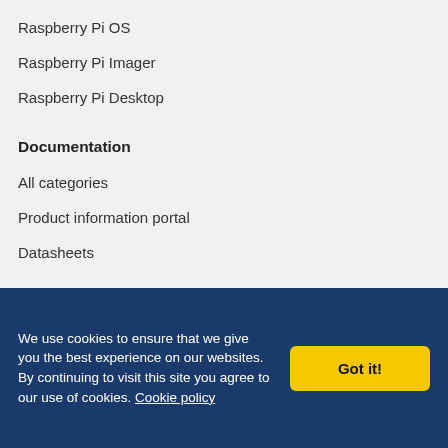Raspberry Pi OS
Raspberry Pi Imager
Raspberry Pi Desktop
Documentation
All categories
Product information portal
Datasheets
Forums
All forums
We use cookies to ensure that we give you the best experience on our websites. By continuing to visit this site you agree to our use of cookies. Cookie policy